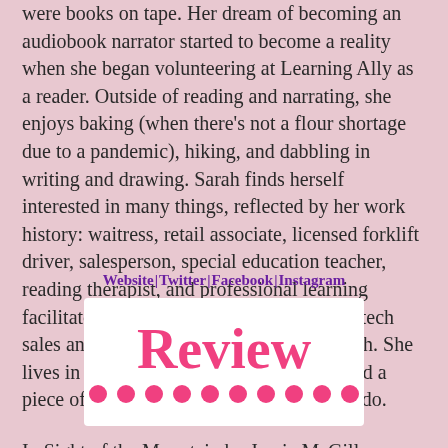were books on tape. Her dream of becoming an audiobook narrator started to become a reality when she began volunteering at Learning Ally as a reader. Outside of reading and narrating, she enjoys baking (when there's not a flour shortage due to a pandemic), hiking, and dabbling in writing and drawing. Sarah finds herself interested in many things, reflected by her work history: waitress, retail associate, licensed forklift driver, salesperson, special education teacher, reading therapist, and professional learning facilitator… Currently she daylights in ed tech sales and moonlights in her recording booth. She lives in Virginia, grew up in Oklahoma, and a piece of her heart will always be in Colorado.
Website | Twitter | Facebook | Instagram
[Figure (illustration): White rounded rectangle containing the word 'Review' in large pink cursive font, with a row of pink dots below it.]
In Sight of the Mountain by Jamie McGillen was a good read. I adored Anna's story. I thought her tale was an inspiration. She was